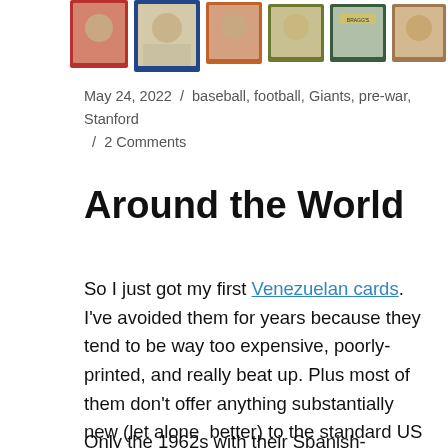[Figure (photo): Row of vintage baseball/football trading cards across the top of the page, showing various colored card borders (red, blue, orange, olive, green, tan) with player portraits]
May 24, 2022 / baseball, football, Giants, pre-war, Stanford / 2 Comments
Around the World
So I just got my first Venezuelan cards. I've avoided them for years because they tend to be way too expensive, poorly-printed, and really beat up. Plus most of them don't offer anything substantially new (let alone  better) to the standard US Topps cards.
Only the 1962s with their Spanish-language